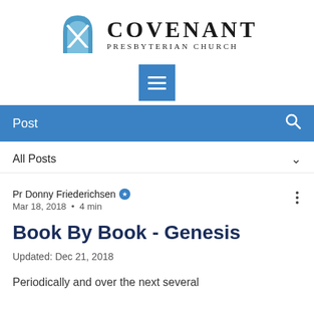[Figure (logo): Covenant Presbyterian Church logo with blue arch/cross icon and serif text]
[Figure (screenshot): Blue hamburger menu button]
Post
All Posts
Pr Donny Friederichsen
Mar 18, 2018 • 4 min
Book By Book - Genesis
Updated: Dec 21, 2018
Periodically and over the next several